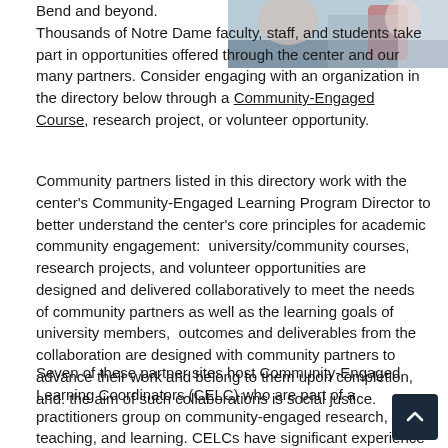[Figure (photo): Photo of people in outdoor/volunteer setting, partially visible at top right of page]
Bend and beyond.
Thousands of Notre Dame faculty, staff, and students take part in opportunities offered through the center and our many partners. Consider engaging with an organization in the directory below through a Community-Engaged Course, research project, or volunteer opportunity.
Community partners listed in this directory work with the center's Community-Engaged Learning Program Director to better understand the center's core principles for academic community engagement:  university/community courses, research projects, and volunteer opportunities are designed and delivered collaboratively to meet the needs of community partners as well as the learning goals of university members,  outcomes and deliverables from the collaboration are designed with community partners to advance their work and belong to them upon completion, and. the aim of such collaborations is social justice.
Seven of these partner sites host Community-Engaged Learning Coordinators (CELC) who are part of a practitioners group on community-engaged research, teaching, and learning. CELCs have significant experience partnering with individuals at Notre Dame and work closely to maximize outcomes for learning in collaborative